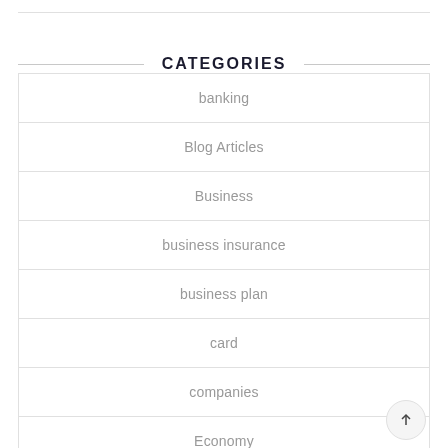CATEGORIES
banking
Blog Articles
Business
business insurance
business plan
card
companies
Economy